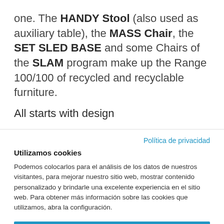one. The HANDY Stool (also used as auxiliary table), the MASS Chair, the SET SLED BASE and some Chairs of the SLAM program make up the Range 100/100 of recycled and recyclable furniture.
All starts with design
Política de privacidad
Utilizamos cookies
Podemos colocarlos para el análisis de los datos de nuestros visitantes, para mejorar nuestro sitio web, mostrar contenido personalizado y brindarle una excelente experiencia en el sitio web. Para obtener más información sobre las cookies que utilizamos, abra la configuración.
Ok, continua
Rechaza
No, ajuste